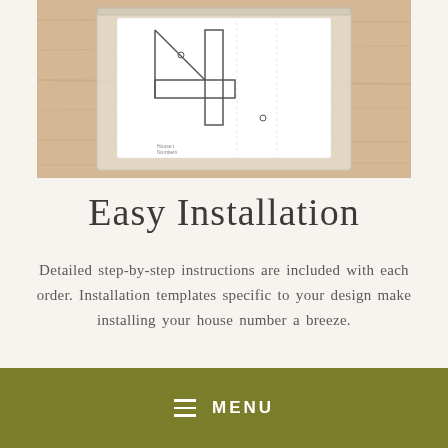[Figure (photo): Photo of a white installation template printed with the number '4', placed in a clear plastic bag on a light wood surface.]
Easy Installation
Detailed step-by-step instructions are included with each order. Installation templates specific to your design make installing your house number a breeze.
☰  MENU